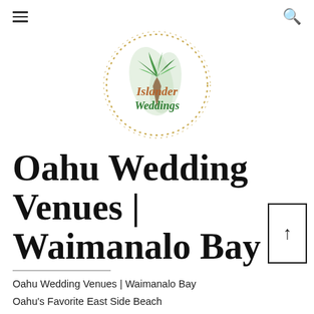≡  [Islander Weddings logo]  🔍
[Figure (logo): Islander Weddings circular logo with a palm tree, watercolor leaves, and a golden dotted circle border. The text 'Islander' appears in coral/brown and 'Weddings' in green cursive.]
Oahu Wedding Venues | Waimanalo Bay
Oahu Wedding Venues | Waimanalo Bay
Oahu's Favorite East Side Beach